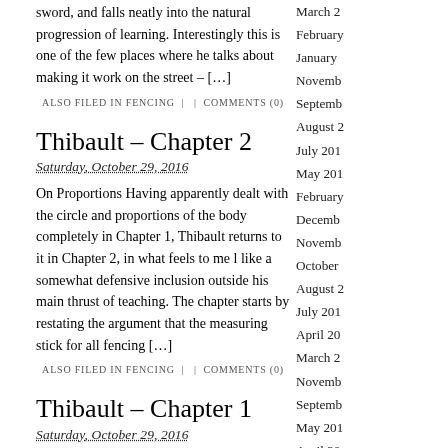sword, and falls neatly into the natural progression of learning. Interestingly this is one of the few places where he talks about making it work on the street – […]
ALSO FILED IN FENCING | | COMMENTS (0)
Thibault – Chapter 2
Saturday, October 29, 2016
On Proportions Having apparently dealt with the circle and proportions of the body completely in Chapter 1, Thibault returns to it in Chapter 2, in what feels to me l like a somewhat defensive inclusion outside his main thrust of teaching. The chapter starts by restating the argument that the measuring stick for all fencing […]
ALSO FILED IN FENCING | | COMMENTS (0)
Thibault – Chapter 1
Saturday, October 29, 2016
March 2
February
January
November
September
August 2
July 201
May 201
February
December
November
October
August 2
July 201
April 20
March 2
November
September
May 201
April 20
February